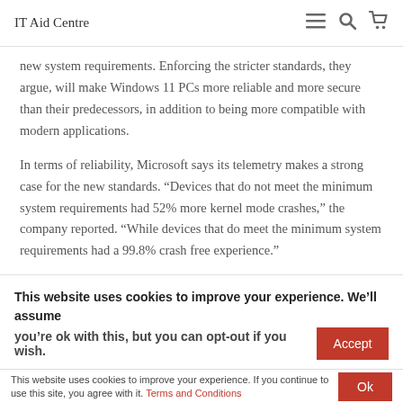IT Aid Centre
new system requirements. Enforcing the stricter standards, they argue, will make Windows 11 PCs more reliable and more secure than their predecessors, in addition to being more compatible with modern applications.
In terms of reliability, Microsoft says its telemetry makes a strong case for the new standards. “Devices that do not meet the minimum system requirements had 52% more kernel mode crashes,” the company reported. “While devices that do meet the minimum system requirements had a 99.8% crash free experience.”
This website uses cookies to improve your experience. We’ll assume you’re ok with this, but you can opt-out if you wish.
This website uses cookies to improve your experience. If you continue to use this site, you agree with it. Terms and Conditions